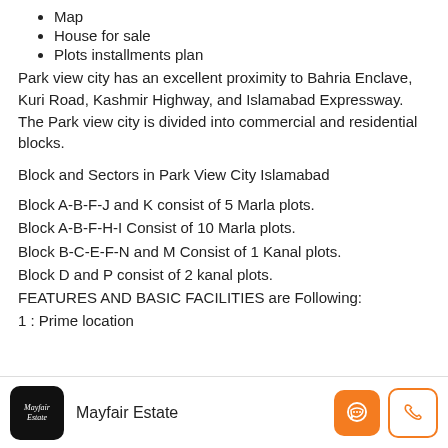Map
House for sale
Plots installments plan
Park view city has an excellent proximity to Bahria Enclave, Kuri Road, Kashmir Highway, and Islamabad Expressway. The Park view city is divided into commercial and residential blocks.
Block and Sectors in Park View City Islamabad
Block A-B-F-J and K consist of 5 Marla plots.
Block A-B-F-H-I Consist of 10 Marla plots.
Block B-C-E-F-N and M Consist of 1 Kanal plots.
Block D and P consist of 2 kanal plots.
FEATURES AND BASIC FACILITIES are Following:
1 : Prime location
Mayfair Estate